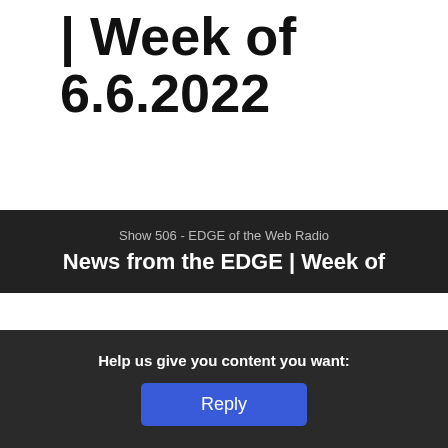| Week of 6.6.2022
[Figure (screenshot): Dark banner showing 'Show 506 - EDGE of the Web Radio' and 'News from the EDGE | Week of']
This website stores cookies on your computer. These cookies are used to improve your website experience and provide more personalized services to you, both on this website and through other media. To find out more about the cookies we use, see our Privacy Policy.
We won't track your information when you visit our site. But in order to comply with your preferences, we'll have to use just one tiny cookie so that you're not asked to make this choice again.
Help us give you content you want:
Reply